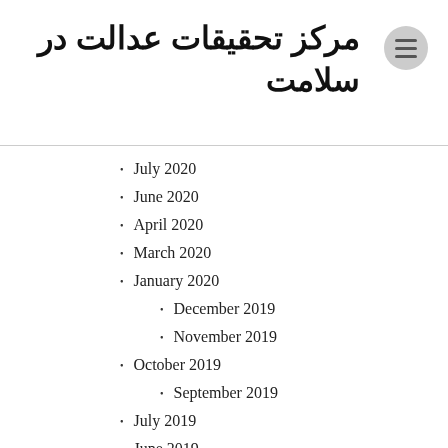مرکز تحقیقات عدالت در سلامت
July 2020
June 2020
April 2020
March 2020
January 2020
December 2019
November 2019
October 2019
September 2019
July 2019
June 2019